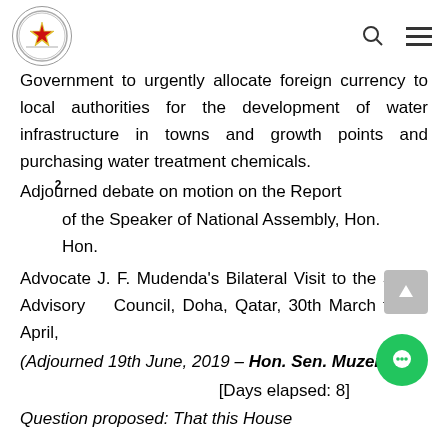Parliament of Zimbabwe logo, search icon, menu icon
Government to urgently allocate foreign currency to local authorities for the development of water infrastructure in towns and growth points and purchasing water treatment chemicals.
Adjourned debate on motion on the Report of the Speaker of National Assembly, Hon.
Advocate J. F. Mudenda's Bilateral Visit to the Shura Advisory Council, Doha, Qatar, 30th March to 4th April, (Adjourned 19th June, 2019 – Hon. Sen. Muzenda)
[Days elapsed: 8]
Question proposed: That this House